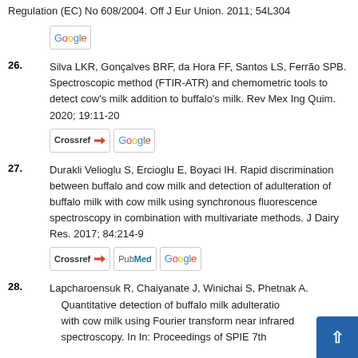Regulation (EC) No 608/2004. Off J Eur Union. 2011; 54L304
[Figure (logo): Google badge/button]
26. Silva LKR, Gonçalves BRF, da Hora FF, Santos LS, Ferrão SPB. Spectroscopic method (FTIR-ATR) and chemometric tools to detect cow's milk addition to buffalo's milk. Rev Mex Ing Quim. 2020; 19:11-20
[Figure (logo): Crossref badge]
[Figure (logo): Google badge]
27. Durakli Velioglu S, Ercioglu E, Boyaci IH. Rapid discrimination between buffalo and cow milk and detection of adulteration of buffalo milk with cow milk using synchronous fluorescence spectroscopy in combination with multivariate methods. J Dairy Res. 2017; 84:214-9
[Figure (logo): Crossref badge]
[Figure (logo): PubMed badge]
[Figure (logo): Google badge]
28. Lapcharoensuk R, Chaiyanate J, Winichai S, Phetnak A. Quantitative detection of buffalo milk adulteration with cow milk using Fourier transform near infrared spectroscopy. In In: Proceedings of SPIE 7th